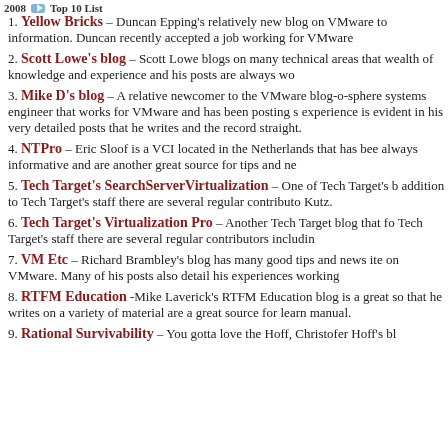2008 Top 10 List
Yellow Bricks – Duncan Epping's relatively new blog on VMware to information. Duncan recently accepted a job working for VMware
Scott Lowe's blog – Scott Lowe blogs on many technical areas that wealth of knowledge and experience and his posts are always wo
Mike D's blog – A relative newcomer to the VMware blog-o-sphere systems engineer that works for VMware and has been posting s experience is evident in his very detailed posts that he writes and the record straight.
NTPro – Eric Sloof is a VCI located in the Netherlands that has bee always informative and are another great source for tips and ne
Tech Target's SearchServerVirtualization – One of Tech Target's b addition to Tech Target's staff there are several regular contributo Kutz.
Tech Target's Virtualization Pro – Another Tech Target blog that fo Tech Target's staff there are several regular contributors includin
VM Etc – Richard Brambley's blog has many good tips and news ite on VMware. Many of his posts also detail his experiences working
RTFM Education -Mike Laverick's RTFM Education blog is a great so that he writes on a variety of material are a great source for learn manual.
Rational Survivability – You gotta love the Hoff, Christofer Hoff's bl